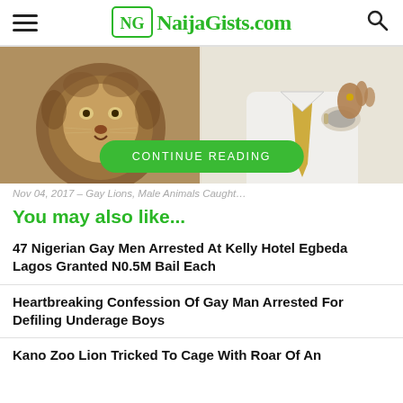NaijaGists.com
[Figure (photo): Two-panel image: left panel shows a close-up of a lion's face, right panel shows a man in a white shirt and gold tie with a watch.]
CONTINUE READING
Nov 04, 2017 – Gay Lions, Male Animals Caught…
You may also like...
47 Nigerian Gay Men Arrested At Kelly Hotel Egbeda Lagos Granted N0.5M Bail Each
Heartbreaking Confession Of Gay Man Arrested For Defiling Underage Boys
Kano Zoo Lion Tricked To Cage With Roar Of An…